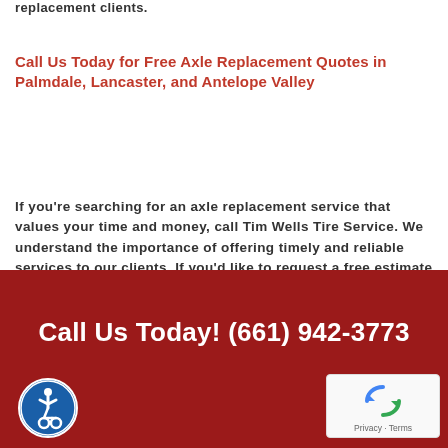replacement clients.
Call Us Today for Free Axle Replacement Quotes in Palmdale, Lancaster, and Antelope Valley
If you're searching for an axle replacement service that values your time and money, call Tim Wells Tire Service. We understand the importance of offering timely and reliable services to our clients. If you'd like to request a free estimate from one of our expert mechanics, please call us today!
Call Us Today! (661) 942-3773